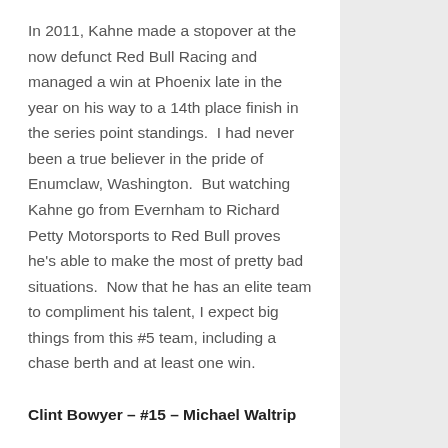In 2011, Kahne made a stopover at the now defunct Red Bull Racing and managed a win at Phoenix late in the year on his way to a 14th place finish in the series point standings.  I had never been a true believer in the pride of Enumclaw, Washington.  But watching Kahne go from Evernham to Richard Petty Motorsports to Red Bull proves he's able to make the most of pretty bad situations.  Now that he has an elite team to compliment his talent, I expect big things from this #5 team, including a chase berth and at least one win.
Clint Bowyer – #15 – Michael Waltrip